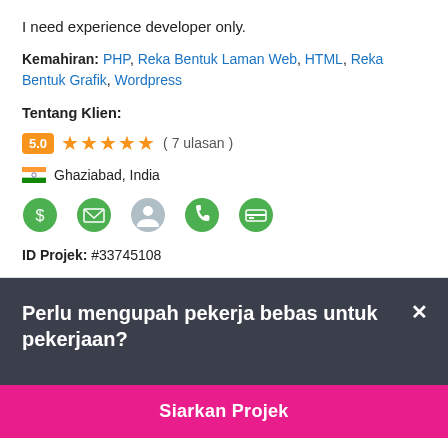I need experience developer only.
Kemahiran: PHP, Reka Bentuk Laman Web, HTML, Reka Bentuk Grafik, Wordpress
Tentang Klien:
5.0 ★★★★★ ( 7 ulasan )
Ghaziabad, India
ID Projek: #33745108
Perlu mengupah pekerja bebas untuk pekerjaan?
Siarkan Projek